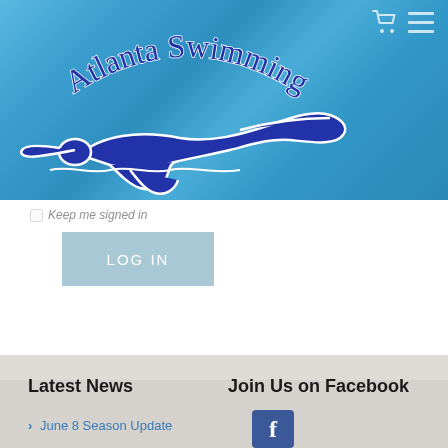[Figure (illustration): Atlanta Swimming website header with blue water background, swimmer silhouette logo in dark blue with white outline, and 'Atlanta Swimming' text arched above the swimmer. Shopping cart and hamburger menu icons in top-right corner.]
Keep me signed in
LOG IN
Latest News
Join Us on Facebook
> June 8 Season Update
[Figure (logo): Facebook logo icon (white 'f' on blue rounded rectangle background)]